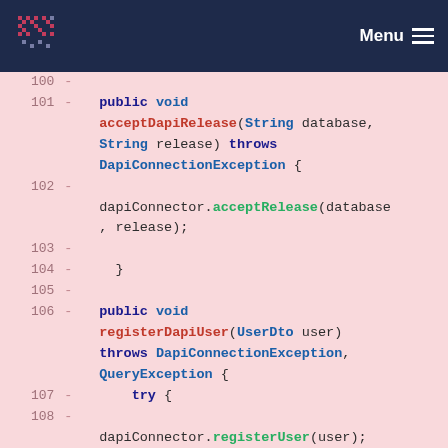Menu
[Figure (screenshot): Code diff view showing Java methods acceptDapiRelease and registerDapiUser, lines 100-110, on a pink/red background with line numbers and minus signs indicating removed lines.]